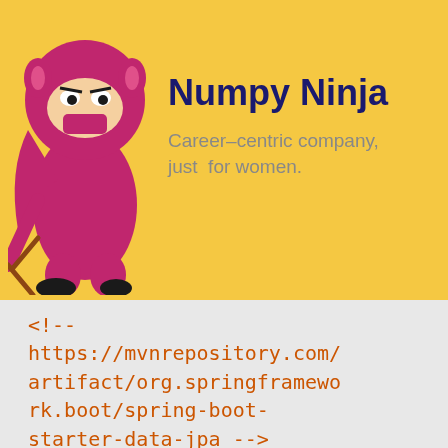[Figure (logo): Numpy Ninja mascot - a pink/magenta ninja owl character holding a weapon, on a yellow banner background]
Numpy Ninja
Career-centric company, just for women.
<!-- https://mvnrepository.com/artifact/org.springframework.boot/spring-boot-starter-data-jpa --> <dependency> <groupId>org.springframework.boot</groupId> <artifactId>spring-boot-starter-data-jpa</artifactId> <version>2.5.3</version>